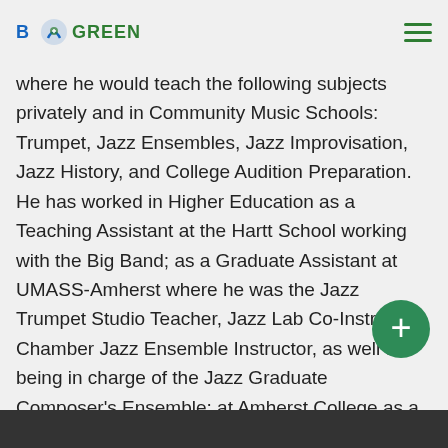Blues Green
Haneef began his teaching career with a private studio in New York before moving to Hartford where he would teach the following subjects privately and in Community Music Schools: Trumpet, Jazz Ensembles, Jazz Improvisation, Jazz History, and College Audition Preparation. He has worked in Higher Education as a Teaching Assistant at the Hartt School working with the Big Band; as a Graduate Assistant at UMASS-Amherst where he was the Jazz Trumpet Studio Teacher, Jazz Lab Co-Instructor, Chamber Jazz Ensemble Instructor, as well as being in charge of the Jazz Graduate Composer's Ensemble; at Amherst College as a Visiting Professor for Jazz Ear Training; and Keene State College where he taught Jazz History.